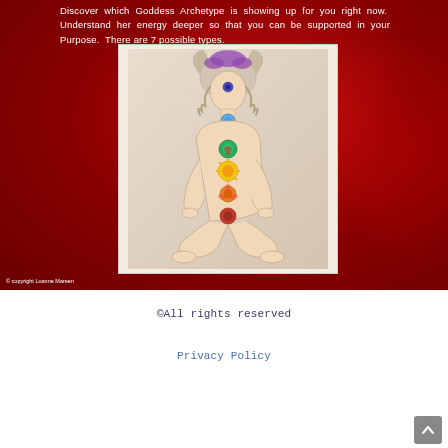Discover which Goddess Archetype is showing up for you right now. Understand her energy deeper so that you can be supported in your Purpose. There are 7 possible types.
[Figure (illustration): Illustration of a woman in lotus meditation pose with 7 chakra symbols shown along her body's center: purple crown, indigo third eye, blue throat, green heart, yellow solar plexus, orange sacral, red root chakra. The figure has flowing hair and sits cross-legged. Copyright Luanne Mareen.]
© copyright Luanne Mareen
©All rights reserved
Privacy Policy